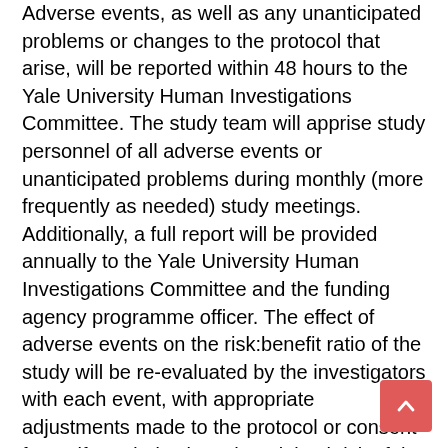Adverse events, as well as any unanticipated problems or changes to the protocol that arise, will be reported within 48 hours to the Yale University Human Investigations Committee. The study team will apprise study personnel of all adverse events or unanticipated problems during monthly (more frequently as needed) study meetings. Additionally, a full report will be provided annually to the Yale University Human Investigations Committee and the funding agency programme officer. The effect of adverse events on the risk:benefit ratio of the study will be re-evaluated by the investigators with each event, with appropriate adjustments made to the protocol or consent forms if needed. Given the minimal risk of the study and intervention, the investigators do not anticipate the occurrence of any serious adverse events. At the time of publication of any manuscripts that arise from this research, the deidentified data for that manuscript will be made available to share for scholarly activities. Qualitative data will be shared as a deidentified Dedoose dataset, and quantitative data will be shared as a deidentified .csv file. Sharing of the data will require a data use agreement to be established between the